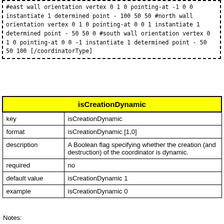#east wall
orientation vertex 0 1 0 pointing-at -1 0 0
instantiate 1 determined point  - 100 50 50
#north wall
orientation vertex 0 1 0 pointing-at 0 0 1
instantiate 1 determined point  - 50 50 0
#south wall
orientation vertex 0 1 0 pointing-at 0 0 -1
instantiate 1 determined point  - 50 50 100
[/coordinatorType]
| isCreationDynamic |
| --- |
| key | isCreationDynamic |
| format | isCreationDynamic [1,0] |
| description | A Boolean flag specifying whether the creation (and destruction) of the coordinator is dynamic. |
| required | no |
| default value | isCreationDynamic 1 |
| example | isCreationDynamic 0 |
Notes: